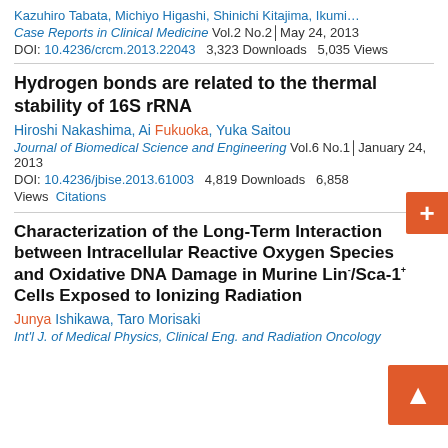Kazuhiro Tabata, Michiyo Higashi, Shinichi Kitajima, Ikumi…
Case Reports in Clinical Medicine Vol.2 No.2│May 24, 2013
DOI: 10.4236/crcm.2013.22043  3,323 Downloads  5,035 Views
Hydrogen bonds are related to the thermal stability of 16S rRNA
Hiroshi Nakashima, Ai Fukuoka, Yuka Saitou
Journal of Biomedical Science and Engineering Vol.6 No.1│January 24, 2013
DOI: 10.4236/jbise.2013.61003  4,819 Downloads  6,858 Views  Citations
Characterization of the Long-Term Interaction between Intracellular Reactive Oxygen Species and Oxidative DNA Damage in Murine Lin⁻/Sca-1⁺ Cells Exposed to Ionizing Radiation
Junya Ishikawa, Taro Morisaki
Int'l J. of Medical Physics, Clinical Eng. and Radiation Oncology